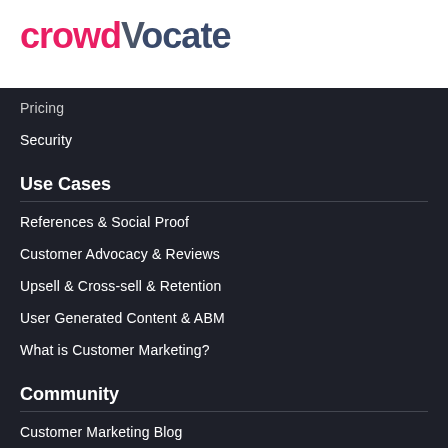[Figure (logo): Crowdvocate logo with 'crowd' in pink/red, 'V' in dark gray, 'ocate' in dark navy blue]
Pricing
Security
Use Cases
References & Social Proof
Customer Advocacy & Reviews
Upsell & Cross-sell & Retention
User Generated Content & ABM
What is Customer Marketing?
Community
Customer Marketing Blog
Events & Webinars